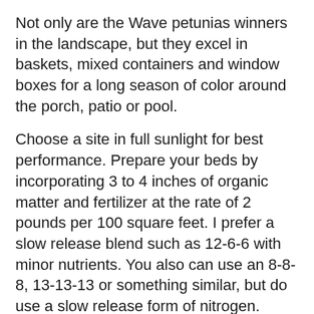Not only are the Wave petunias winners in the landscape, but they excel in baskets, mixed containers and window boxes for a long season of color around the porch, patio or pool.
Choose a site in full sunlight for best performance. Prepare your beds by incorporating 3 to 4 inches of organic matter and fertilizer at the rate of 2 pounds per 100 square feet. I prefer a slow release blend such as 12-6-6 with minor nutrients. You also can use an 8-8-8, 13-13-13 or something similar, but do use a slow release form of nitrogen.
Till the organic matter and fertilizer to a depth of 8 to 10 inches. Plant at the same depth the flowers are growing in the container and remember to space accordingly for the Wave you are buying. Mass plant several to give the best landscape look.
Add a good layer of mulch to keep out weeds, moderate